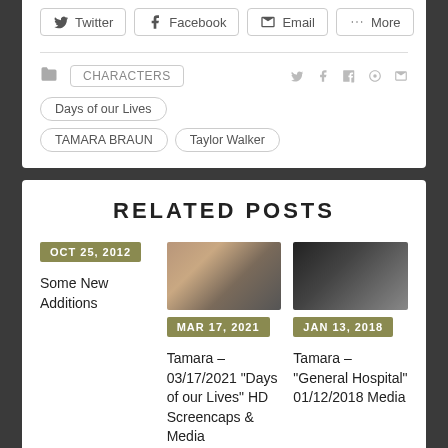Twitter
Facebook
Email
More
CHARACTERS
Days of our Lives
TAMARA BRAUN
Taylor Walker
RELATED POSTS
OCT 25, 2012
Some New Additions
[Figure (photo): Photo of a woman with long brown hair, looking to the side, with a beige/gold background]
MAR 17, 2021
Tamara – 03/17/2021 "Days of our Lives" HD Screencaps & Media
[Figure (photo): Dark screenshot from General Hospital TV show showing a woman with long hair, timestamp overlay visible]
JAN 13, 2018
Tamara – "General Hospital" 01/12/2018 Media